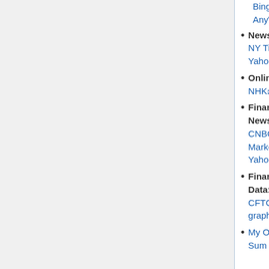Bing; AnyWho;
News: CNN; NY Times; Yahoo News;
Online TV: NHK; Al Jazeera;
Financial News: CNBC; MarketWatch; Yahoo;
Financial Data: FinViz; CFTC graphs;
My Old Links Page; YT; Sum Zero;
Maps: Google; Mapquest;
Travel: Hotel.com; AirFareWatchDog; Expedia; Traveloc...
MetaLevel: Whichever; FlyLowCostAirlines; SkyScanner; Mo...; WeGo;
Travel: GORP; HistoryChannel; HomeAway Renta...; VacationHomeRen...
Local: Pasadena...